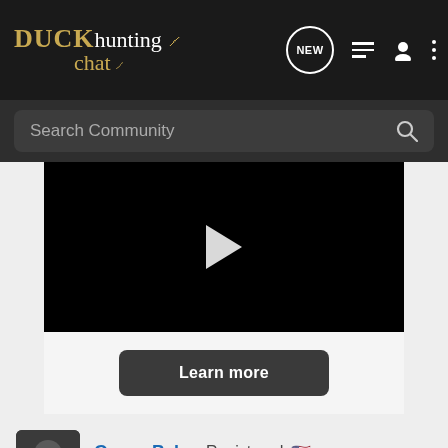DUCKhunting chat — navigation bar with NEW, list, profile, and menu icons
Search Community
[Figure (screenshot): Black video player with white play button triangle in center]
Learn more
GomerPyle · Registered 🇺🇸
Joined Jul 5, 2012 · 1,750 Posts
#13 · Se... Cabela's HIGHEST-RATED GEAR 4.9